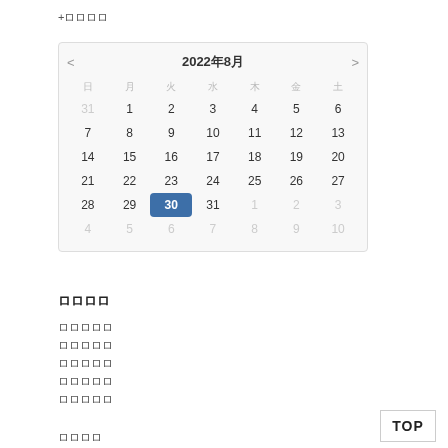+ロロロロ
[Figure (other): Calendar widget showing August 2022, with day 30 highlighted in blue. Days of the week shown as Japanese characters. Previous and next navigation arrows present.]
ロロロロ
ロロロロロ
ロロロロロ
ロロロロロ
ロロロロロ
ロロロロロ
ロロロロ
TOP